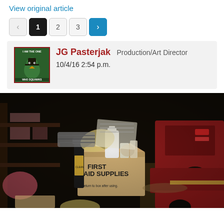View original article
[Figure (other): Pagination controls: left arrow (inactive), page 1 (active/black), page 2, page 3, right arrow (blue)]
JG Pasterjak  Production/Art Director
10/4/16 2:54 p.m.
[Figure (photo): Dark workshop or garage scene showing a cardboard box labeled 'FIRST AID SUPPLIES - Return to box after using' surrounded by various bottles, supplies, and red vehicles in background]